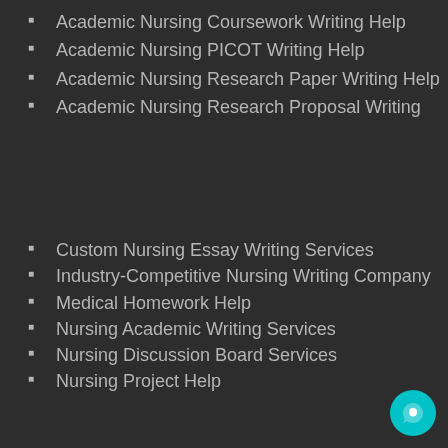Academic Nursing Coursework Writing Help
Academic Nursing PICOT Writing Help
Academic Nursing Research Paper Writing Help
Academic Nursing Research Proposal Writing
Custom Nursing Essay Writing Services
Industry-Competitive Nursing Writing Company
Medical Homework Help
Nursing Academic Writing Services
Nursing Discussion Board Services
Nursing Project Help